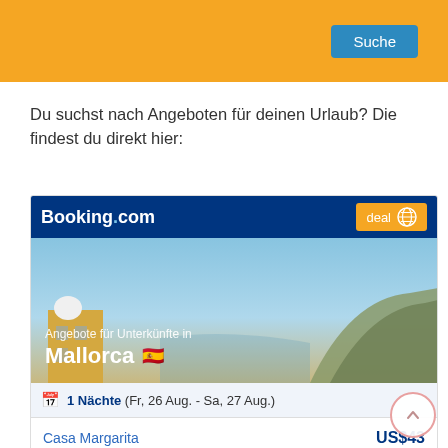[Figure (screenshot): Yellow search bar area with blue 'Suche' button on the right]
Du suchst nach Angeboten für deinen Urlaub? Die findest du direkt hier:
[Figure (screenshot): Booking.com widget showing Mallorca hotel deals with deal badge, scenic photo of Mallorca coast, 1 Nächte dates Fr 26 Aug - Sa 27 Aug, listing Casa Margarita at US$43 and Bordoy Don Antonio at US$110 with 4 stars]